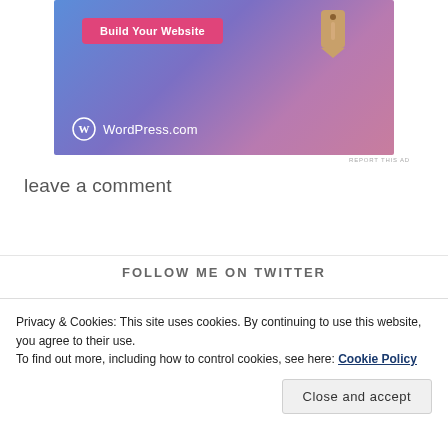[Figure (advertisement): WordPress.com advertisement with blue-purple gradient background, 'Build Your Website' pink button, a price tag icon, and WordPress.com logo at bottom left]
REPORT THIS AD
leave a comment
FOLLOW ME ON TWITTER
Privacy & Cookies: This site uses cookies. By continuing to use this website, you agree to their use.
To find out more, including how to control cookies, see here: Cookie Policy
Close and accept
@B2Sterns · 16h